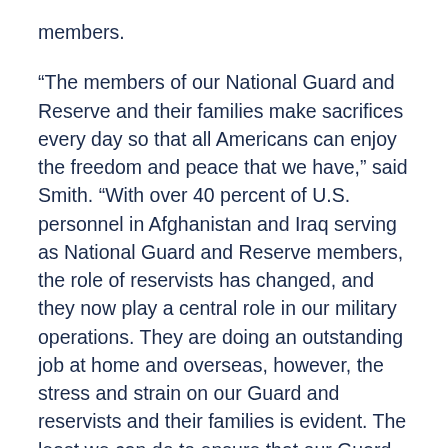members.
“The members of our National Guard and Reserve and their families make sacrifices every day so that all Americans can enjoy the freedom and peace that we have,” said Smith. “With over 40 percent of U.S. personnel in Afghanistan and Iraq serving as National Guard and Reserve members, the role of reservists has changed, and they now play a central role in our military operations. They are doing an outstanding job at home and overseas, however, the stress and strain on our Guard and reservists and their families is evident. The least we can do to ensure that our Guard and Reserve members have the very best support and benefits available in return for their enormous sacrifice.”
Below is a summary of the bill’s main provisions: